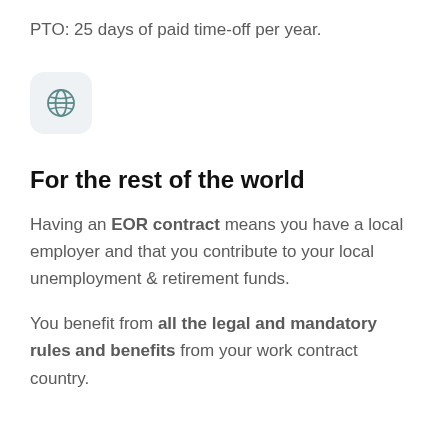PTO: 25 days of paid time-off per year.
[Figure (illustration): Globe/world icon inside a light grey rounded square box]
For the rest of the world
Having an EOR contract means you have a local employer and that you contribute to your local unemployment & retirement funds.
You benefit from all the legal and mandatory rules and benefits from your work contract country.